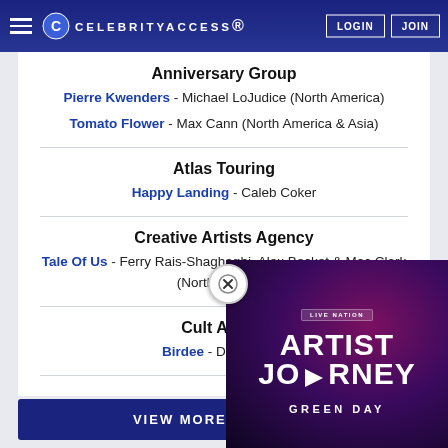CELEBRITYACCESS. LOGIN JOIN
Anniversary Group
Pierre Kwenders - Michael LoJudice (North America)
Tomato Flower - Max Cann (North America & Asia)
Atlas Touring
Happy Landing - Caleb Coker
Creative Artists Agency
Tale Of Us - Ferry Rais-Shaghaghi, Alex Becket & Mac Clark (North America)
Cult Artists
Birdee - Daniel Sant
VIEW MORE V
[Figure (screenshot): Live Nation Artist Journey Green Day popup advertisement overlay with close button]